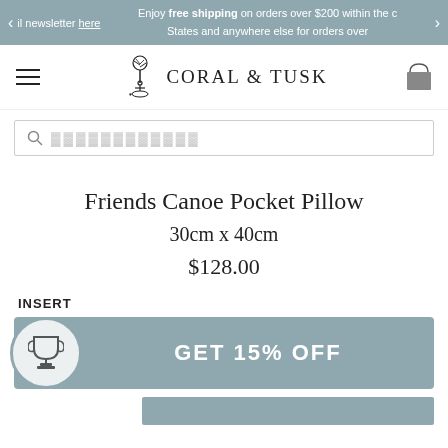il newsletter here  Enjoy free shipping on orders over $200 within the c States and anywhere else for orders over
[Figure (logo): Coral & Tusk brand logo with tree and anchor illustration]
[Figure (other): Search bar with magnifying glass icon and placeholder text]
Friends Canoe Pocket Pillow
30cm x 40cm
$128.00
INSERT
[Figure (infographic): GET 15% OFF promotional banner with trophy icon in a circle on a teal/steel blue background]